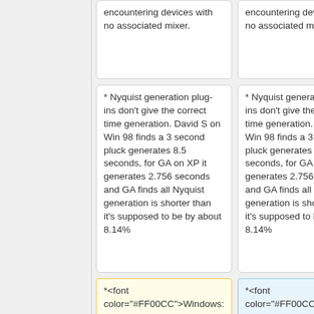encountering devices with no associated mixer.
encountering devices with no associated mixer.
* Nyquist generation plug-ins don't give the correct time generation. David S on Win 98 finds a 3 second pluck generates 8.5 seconds, for GA on XP it generates 2.756 seconds and GA finds all Nyquist generation is shorter than it's supposed to be by about 8.14%
* Nyquist generation plug-ins don't give the correct time generation. David S on Win 98 finds a 3 second pluck generates 8.5 seconds, for GA on XP it generates 2.756 seconds and GA finds all Nyquist generation is shorter than it's supposed to be by about 8.14%
*<font color="#FF00CC">Windows:</font> Watch for speaker and mix
*<font color="#FF00CC">Windows:</font> Watch for speaker and mix